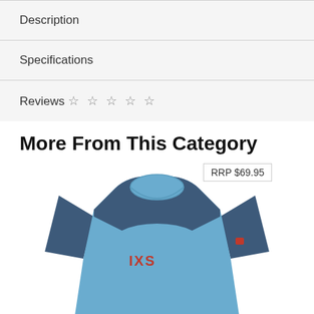Description
Specifications
Reviews ☆ ☆ ☆ ☆ ☆
More From This Category
[Figure (photo): Light blue and dark navy raglan short-sleeve t-shirt with red IXS logo on chest, shown on invisible mannequin against white background. Price badge showing RRP $69.95 in upper right area.]